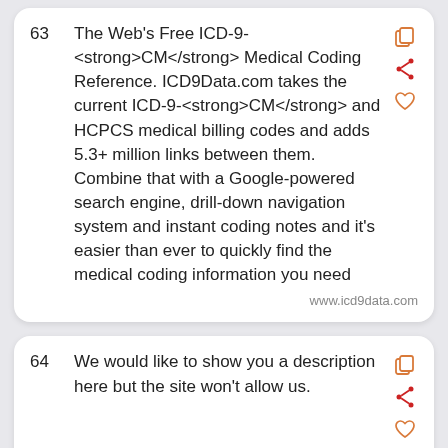63  The Web's Free ICD-9-CM Medical Coding Reference. ICD9Data.com takes the current ICD-9-CM and HCPCS medical billing codes and adds 5.3+ million links between them. Combine that with a Google-powered search engine, drill-down navigation system and instant coding notes and it's easier than ever to quickly find the medical coding information you need
www.icd9data.com
64  We would like to show you a description here but the site won't allow us.
mail.google.com